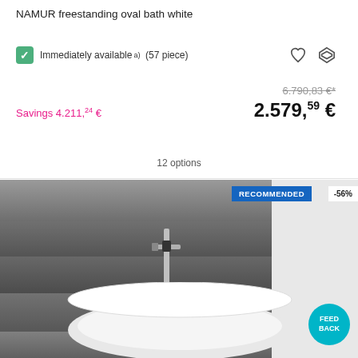NAMUR freestanding oval bath white
Immediately available a) (57 piece)
6.790,83 €*
Savings 4.211,24 €
2.579,59 €
12 options
[Figure (photo): Freestanding oval white bathtub with chrome floor-standing faucet against dark wooden plank wall background, with RECOMMENDED badge and -56% discount label]
RECOMMENDED
-56%
FEED BACK